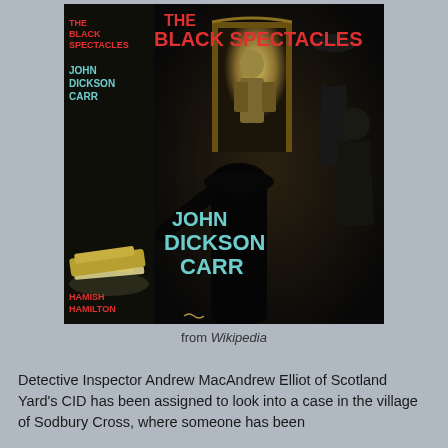[Figure (illustration): Book cover of 'The Black Spectacles' by John Dickson Carr, published by Hamish Hamilton. Dark atmospheric cover showing silhouetted figures around a doorway with light, with text in red and teal/green colors.]
from Wikipedia
Detective Inspector Andrew MacAndrew Elliot of Scotland Yard's CID has been assigned to look into a case in the village of Sodbury Cross, where someone has been